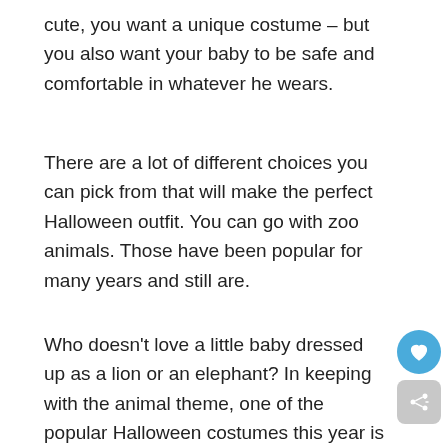cute, you want a unique costume – but you also want your baby to be safe and comfortable in whatever he wears.
There are a lot of different choices you can pick from that will make the perfect Halloween outfit. You can go with zoo animals. Those have been popular for many years and still are.
Who doesn't love a little baby dressed up as a lion or an elephant? In keeping with the animal theme, one of the popular Halloween costumes this year is the Baby Peacock Costume.